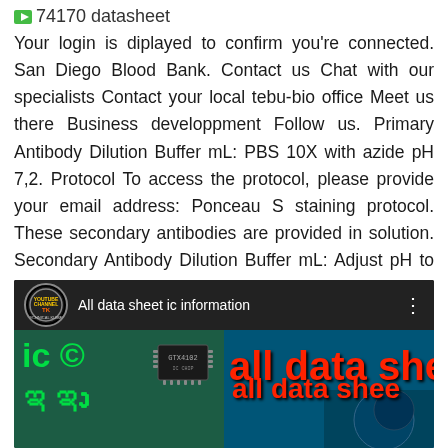74170 datasheet
Your login is diplayed to confirm you’re connected. San Diego Blood Bank. Contact us Chat with our specialists Contact your local tebu-bio office Meet us there Business developpment Follow us. Primary Antibody Dilution Buffer mL: PBS 10X with azide pH 7,2. Protocol To access the protocol, please provide your email address: Ponceau S staining protocol. These secondary antibodies are provided in solution. Secondary Antibody Dilution Buffer mL: Adjust pH to 741700.
[Figure (screenshot): YouTube video thumbnail showing 'All data sheet ic information' channel. Left half shows green text 'ic e' and Telugu script on dark green background with an IC chip image (GTX4102 or similar). Right half shows 'all data shee' in large red bold text on dark teal background with circuit board/IC imagery.]